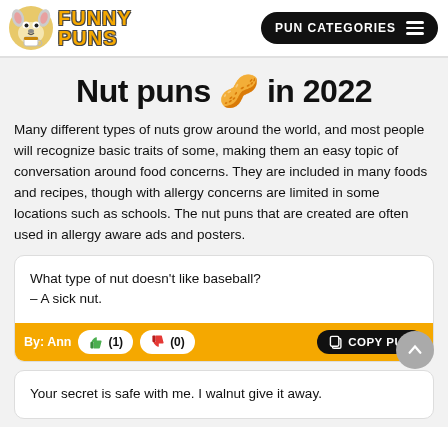FUNNY PUNS | PUN CATEGORIES
Nut puns 🥜 in 2022
Many different types of nuts grow around the world, and most people will recognize basic traits of some, making them an easy topic of conversation around food concerns. They are included in many foods and recipes, though with allergy concerns are limited in some locations such as schools. The nut puns that are created are often used in allergy aware ads and posters.
What type of nut doesn't like baseball?
– A sick nut.
By: Ann  👍 (1)  👎 (0)  COPY PUN
Your secret is safe with me. I walnut give it away.